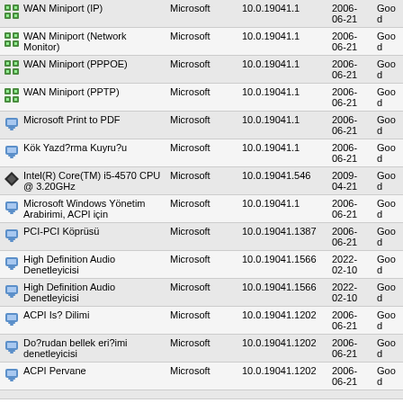| Device Name | Manufacturer | Version | Date | Status |
| --- | --- | --- | --- | --- |
| WAN Miniport (IP) | Microsoft | 10.0.19041.1 | 2006-06-21 | Good |
| WAN Miniport (Network Monitor) | Microsoft | 10.0.19041.1 | 2006-06-21 | Good |
| WAN Miniport (PPPOE) | Microsoft | 10.0.19041.1 | 2006-06-21 | Good |
| WAN Miniport (PPTP) | Microsoft | 10.0.19041.1 | 2006-06-21 | Good |
| Microsoft Print to PDF | Microsoft | 10.0.19041.1 | 2006-06-21 | Good |
| Kök Yazd?rma Kuyru?u | Microsoft | 10.0.19041.1 | 2006-06-21 | Good |
| Intel(R) Core(TM) i5-4570 CPU @ 3.20GHz | Microsoft | 10.0.19041.546 | 2009-04-21 | Good |
| Microsoft Windows Yönetim Arabirimi, ACPI için | Microsoft | 10.0.19041.1 | 2006-06-21 | Good |
| PCI-PCI Köprüsü | Microsoft | 10.0.19041.1387 | 2006-06-21 | Good |
| High Definition Audio Denetleyicisi | Microsoft | 10.0.19041.1566 | 2022-02-10 | Good |
| High Definition Audio Denetleyicisi | Microsoft | 10.0.19041.1566 | 2022-02-10 | Good |
| ACPI Is? Dilimi | Microsoft | 10.0.19041.1202 | 2006-06-21 | Good |
| Do?rudan bellek eri?imi denetleyicisi | Microsoft | 10.0.19041.1202 | 2006-06-21 | Good |
| ACPI Pervane | Microsoft | 10.0.19041.1202 | 2006-06-21 | Good |